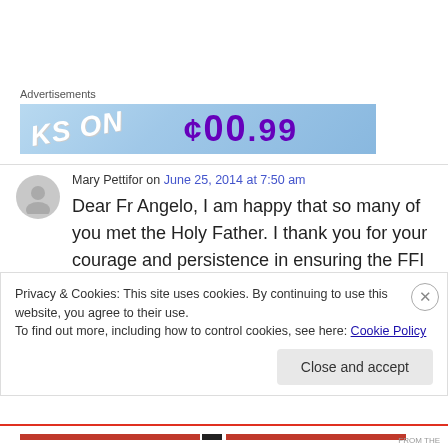[Figure (photo): Advertisement banner with light blue background showing partial text 'KS ON' and price '$00.99' in purple]
Mary Pettifor on June 25, 2014 at 7:50 am
Dear Fr Angelo, I am happy that so many of you met the Holy Father. I thank you for your courage and persistence in ensuring the FFI stay true to their charism and continue to keep you all
Privacy & Cookies: This site uses cookies. By continuing to use this website, you agree to their use.
To find out more, including how to control cookies, see here: Cookie Policy
Close and accept